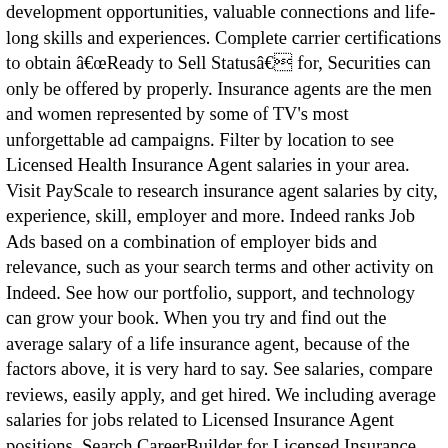development opportunities, valuable connections and life-long skills and experiences. Complete carrier certifications to obtain âReady to Sell Statusâ for, Securities can only be offered by properly. Insurance agents are the men and women represented by some of TV's most unforgettable ad campaigns. Filter by location to see Licensed Health Insurance Agent salaries in your area. Visit PayScale to research insurance agent salaries by city, experience, skill, employer and more. Indeed ranks Job Ads based on a combination of employer bids and relevance, such as your search terms and other activity on Indeed. See how our portfolio, support, and technology can grow your book. When you try and find out the average salary of a life insurance agent, because of the factors above, it is very hard to say. See salaries, compare reviews, easily apply, and get hired. We including average salaries for jobs related to Licensed Insurance Agent positions. Search CareerBuilder for Licensed Insurance Agent Benefits Advisor Jobs and browse our platform. for Property and